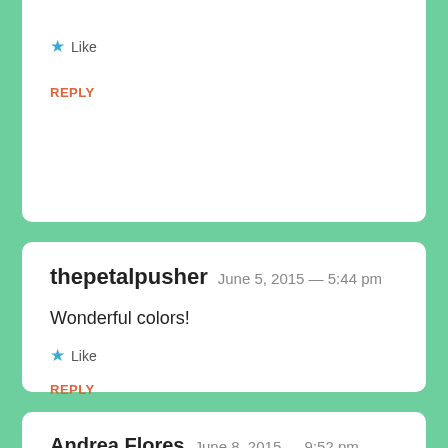★ Like
REPLY
thepetalpusher  June 5, 2015 — 5:44 pm
Wonderful colors!
★ Like
REPLY
Andrea Flores  June 8, 2015 — 9:52 pm